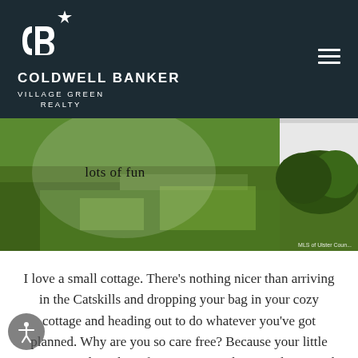COLDWELL BANKER VILLAGE GREEN REALTY
[Figure (photo): Outdoor photo of a green lawn with a large white semi-transparent circle overlay containing text 'lots of fun', and shrubbery in the background. Watermark reads 'MLS of Ulster Coun...']
I love a small cottage. There's nothing nicer than arriving in the Catskills and dropping your bag in your cozy cottage and heading out to do whatever you've got planned. Why are you so care free? Because your little cottage needs nothing from you! You don't need to attend to the many bedrooms, the